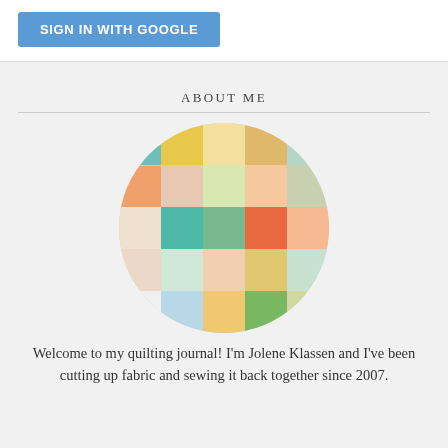[Figure (screenshot): Blue 'SIGN IN WITH GOOGLE' button on white background]
ABOUT ME
[Figure (photo): Circular cropped photo of a colorful patchwork quilt with various fabric squares in teal, yellow, orange, green, white, and floral patterns]
Welcome to my quilting journal! I'm Jolene Klassen and I've been cutting up fabric and sewing it back together since 2007.